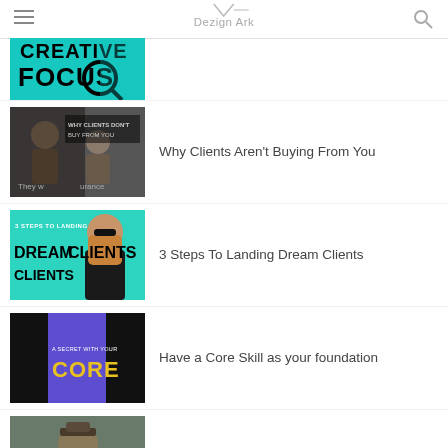Dezign Ark
[Figure (photo): Partial thumbnail image showing 'Creative Focus' text with teal background and person with magnifying glass]
[Figure (photo): Thumbnail image for 'Why Clients Aren't Buying From You' showing two men in a dark scene with overlay text]
Why Clients Aren't Buying From You
[Figure (photo): Thumbnail image showing '3 Steps To Landing Dream Clients' with teal background and woman with sunglasses]
3 Steps To Landing Dream Clients
[Figure (photo): Thumbnail image showing 'Core' text with purple/blue stripe on black background]
Have a Core Skill as your foundation
[Figure (photo): Thumbnail image showing person with text 'Who You Are' on dark background]
Your Weaknesses Are Where The Magic Is